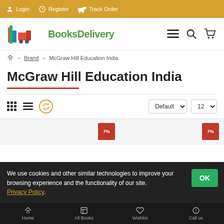Login  Register  Track Order
[Figure (logo): BooksDelivery logo with colorful book stack and truck icon]
Home → Brand → McGraw Hill Education India
McGraw Hill Education India
Default  12
We use cookies and other similar technologies to improve your browsing experience and the functionality of our site. Privacy Policy.
Home  All Books  Wishlist  Call us